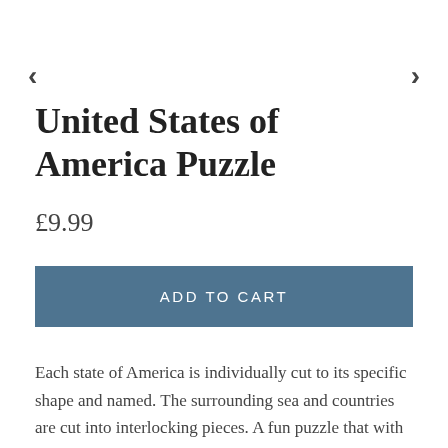‹
›
United States of America Puzzle
£9.99
ADD TO CART
Each state of America is individually cut to its specific shape and named. The surrounding sea and countries are cut into interlocking pieces. A fun puzzle that with practice is ideal for a speed challenge.
This Puzzle comes in a metal tin that is manufactured in Britain.